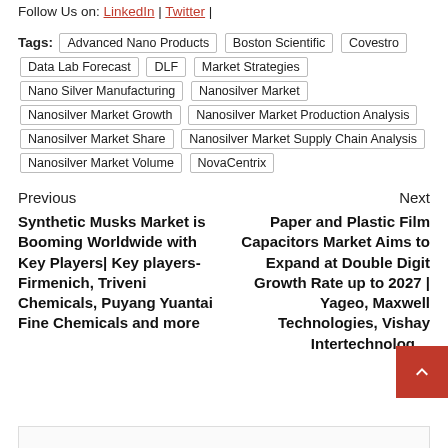Follow Us on: LinkedIn | Twitter |
Tags: Advanced Nano Products Boston Scientific Covestro Data Lab Forecast DLF Market Strategies Nano Silver Manufacturing Nanosilver Market Nanosilver Market Growth Nanosilver Market Production Analysis Nanosilver Market Share Nanosilver Market Supply Chain Analysis Nanosilver Market Volume NovaCentrix
Previous
Synthetic Musks Market is Booming Worldwide with Key Players| Key players- Firmenich, Triveni Chemicals, Puyang Yuantai Fine Chemicals and more
Next
Paper and Plastic Film Capacitors Market Aims to Expand at Double Digit Growth Rate up to 2027 | Yageo, Maxwell Technologies, Vishay Intertechnologies